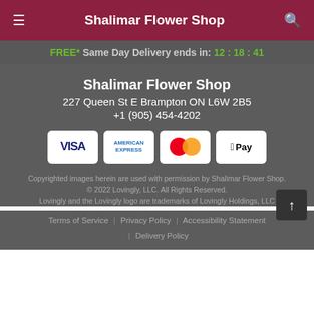Shalimar Flower Shop
FREE* Same Day Delivery ends in: 12:18:41
Shalimar Flower Shop
227 Queen St E Brampton ON L6W 2B5
+1 (905) 454-4202
[Figure (infographic): Payment method badges: VISA, American Express, MasterCard, Apple Pay]
Copyrighted images herein are used with permission by Shalimar Flower Shop. © 2022 Lovingly, LLC. All Rights Reserved. Lovingly and the Lovingly logo are trademarks of Lovingly Holdings, LLC
Terms of Service | Privacy Policy | Accessibility Statement | Delivery Policy